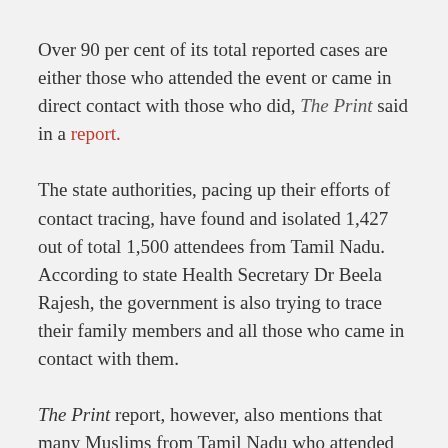Over 90 per cent of its total reported cases are either those who attended the event or came in direct contact with those who did, The Print said in a report.
The state authorities, pacing up their efforts of contact tracing, have found and isolated 1,427 out of total 1,500 attendees from Tamil Nadu. According to state Health Secretary Dr Beela Rajesh, the government is also trying to trace their family members and all those who came in contact with them.
The Print report, however, also mentions that many Muslims from Tamil Nadu who attended the event in Delhi are voluntarily coming out and declaring themselves.